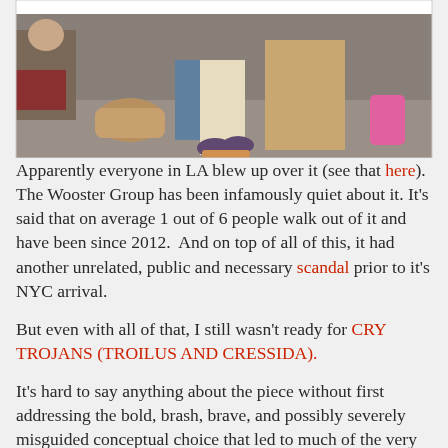[Figure (photo): Street-level photo showing people's legs and feet on a sidewalk or plaza, with bags and luggage visible. One person appears to be on a skateboard. Pink bag visible on right side.]
Apparently everyone in LA blew up over it (see that here). The Wooster Group has been infamously quiet about it. It's said that on average 1 out of 6 people walk out of it and have been since 2012.  And on top of all of this, it had another unrelated, public and necessary scandal prior to it's NYC arrival.
But even with all of that, I still wasn't ready for CRY TROJANS (TROILUS AND CRESSIDA).
It's hard to say anything about the piece without first addressing the bold, brash, brave, and possibly severely misguided conceptual choice that led to much of the very vocal backlash. In a nutshell, in 2012 The Wooster